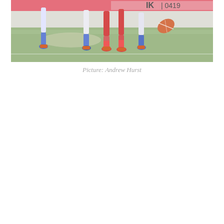[Figure (photo): Action photo of Australian rules football players running and competing for the ball on a grass oval. Players wearing red and white versus blue and white uniforms, with a red football visible mid-air. Advertising hoarding in background showing 'IK | 0419'. Taken at pitch level.]
Picture: Andrew Hurst